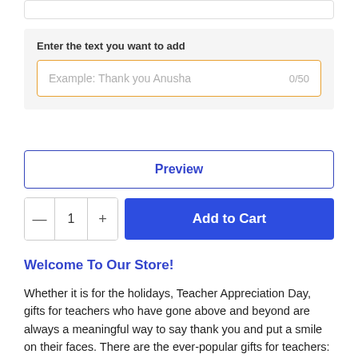Enter the text you want to add
Example: Thank you Anusha   0/50
Preview
— 1 + Add to Cart
Welcome To Our Store!
Whether it is for the holidays, Teacher Appreciation Day, gifts for teachers who have gone above and beyond are always a meaningful way to say thank you and put a smile on their faces. There are the ever-popular gifts for teachers: anything with an apple motif